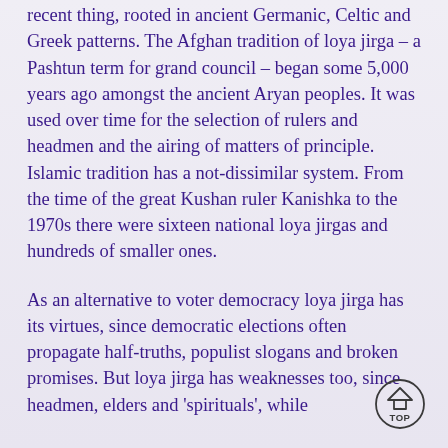recent thing, rooted in ancient Germanic, Celtic and Greek patterns. The Afghan tradition of loya jirga – a Pashtun term for grand council – began some 5,000 years ago amongst the ancient Aryan peoples. It was used over time for the selection of rulers and headmen and the airing of matters of principle. Islamic tradition has a not-dissimilar system. From the time of the great Kushan ruler Kanishka to the 1970s there were sixteen national loya jirgas and hundreds of smaller ones.
As an alternative to voter democracy loya jirga has its virtues, since democratic elections often propagate half-truths, populist slogans and broken promises. But loya jirga has weaknesses too, since headmen, elders and 'spirituals', while
[Figure (other): A circular 'TOP' navigation button with an upward-pointing triangle/house icon above the text TOP, enclosed in a circle.]